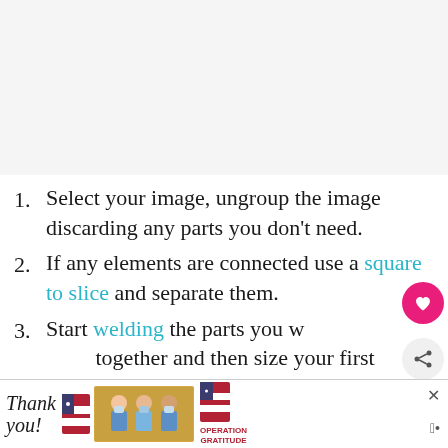[Figure (other): Large light gray placeholder image area at top of page]
Select your image, ungroup the image discarding any parts you don't need.
If any elements are connected use a square to slice and separate them.
Start welding the parts you want together and then size your first
[Figure (other): What's Next overlay thumbnail circle with text: WHAT'S NEXT → Free Cricut Joy Mothers...]
[Figure (other): Bottom advertisement banner: Thank you Operation Gratitude with photo of healthcare workers]